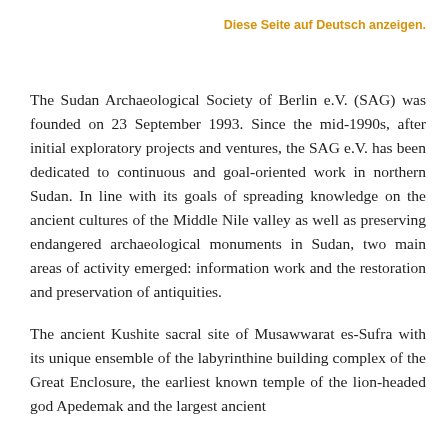Diese Seite auf Deutsch anzeigen.
The Sudan Archaeological Society of Berlin e.V. (SAG) was founded on 23 September 1993. Since the mid-1990s, after initial exploratory projects and ventures, the SAG e.V. has been dedicated to continuous and goal-oriented work in northern Sudan. In line with its goals of spreading knowledge on the ancient cultures of the Middle Nile valley as well as preserving endangered archaeological monuments in Sudan, two main areas of activity emerged: information work and the restoration and preservation of antiquities.
The ancient Kushite sacral site of Musawwarat es-Sufra with its unique ensemble of the labyrinthine building complex of the Great Enclosure, the earliest known temple of the lion-headed god Apedemak and the largest ancient